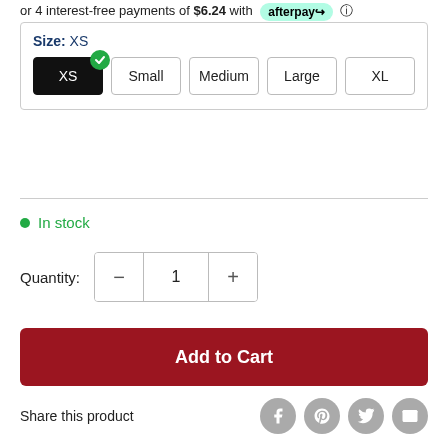or 4 interest-free payments of $6.24 with afterpay
Size: XS
XS  Small  Medium  Large  XL
In stock
Quantity: 1
Add to Cart
Share this product